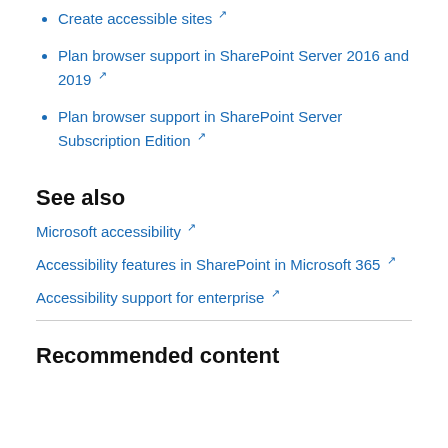Create accessible sites ↗
Plan browser support in SharePoint Server 2016 and 2019 ↗
Plan browser support in SharePoint Server Subscription Edition ↗
See also
Microsoft accessibility ↗
Accessibility features in SharePoint in Microsoft 365 ↗
Accessibility support for enterprise ↗
Recommended content